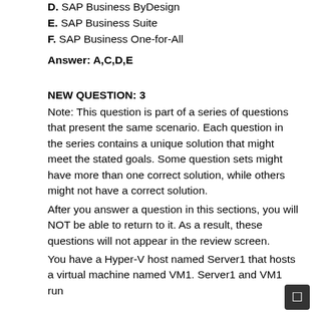D. SAP Business ByDesign
E. SAP Business Suite
F. SAP Business One-for-All
Answer: A,C,D,E
NEW QUESTION: 3
Note: This question is part of a series of questions that present the same scenario. Each question in the series contains a unique solution that might meet the stated goals. Some question sets might have more than one correct solution, while others might not have a correct solution.
After you answer a question in this sections, you will NOT be able to return to it. As a result, these questions will not appear in the review screen.
You have a Hyper-V host named Server1 that hosts a virtual machine named VM1. Server1 and VM1 run